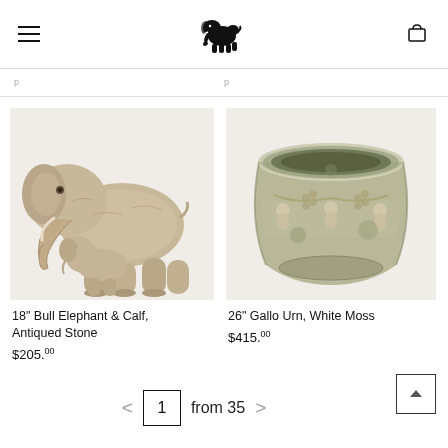Navigation header with hamburger menu, elephant logo, and shopping cart
[Figure (photo): Stone sculpture of a mother bull elephant with a small calf beneath her, antiqued stone finish, displayed on light beige background]
18" Bull Elephant & Calf, Antiqued Stone
$205.00
[Figure (photo): Large round stone urn with decorative relief carvings of cherubs and grape bunches, white moss patina finish]
26" Gallo Urn, White Moss
$415.00
< 1 from 35 >